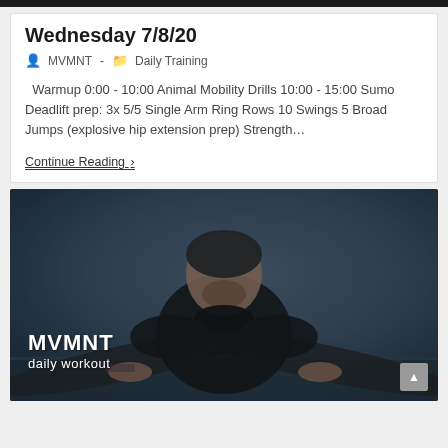Wednesday 7/8/20
MVMNT  -  Daily Training
Warmup 0:00 - 10:00 Animal Mobility Drills 10:00 - 15:00 Sumo Deadlift prep: 3x 5/5 Single Arm Ring Rows 10 Swings 5 Broad Jumps (explosive hip extension prep) Strength…
Continue Reading ›
[Figure (photo): A man in a black shirt in a crouched athletic position on a floor, photographed from above at an angle. The image has a dark blue-grey tone. Overlaid text reads 'MVMNT daily workout' in white.]